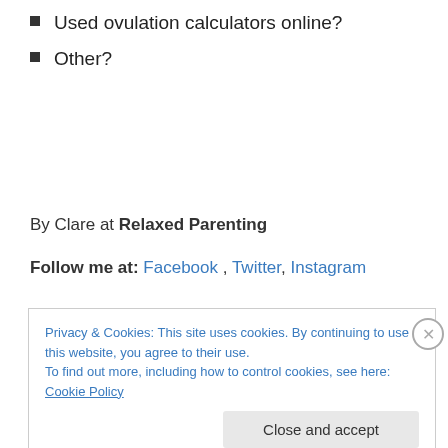Used ovulation calculators online?
Other?
By Clare at Relaxed Parenting
Follow me at: Facebook , Twitter, Instagram
Privacy & Cookies: This site uses cookies. By continuing to use this website, you agree to their use.
To find out more, including how to control cookies, see here: Cookie Policy
Close and accept